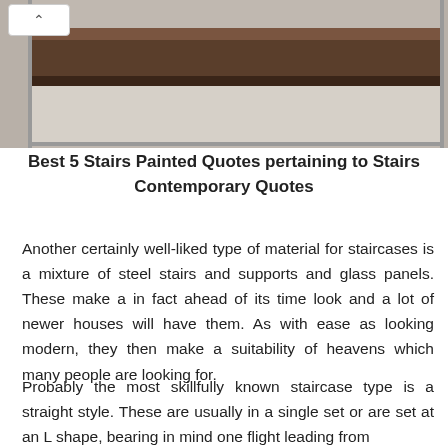[Figure (photo): Close-up photograph of a dark brown wooden stair handrail/banister with a grey/beige wall visible below it.]
Best 5 Stairs Painted Quotes pertaining to Stairs Contemporary Quotes
Another certainly well-liked type of material for staircases is a mixture of steel stairs and supports and glass panels. These make a in fact ahead of its time look and a lot of newer houses will have them. As with ease as looking modern, they then make a suitability of heavens which many people are looking for.
Probably the most skillfully known staircase type is a straight style. These are usually in a single set or are set at an L shape, bearing in mind one flight leading from